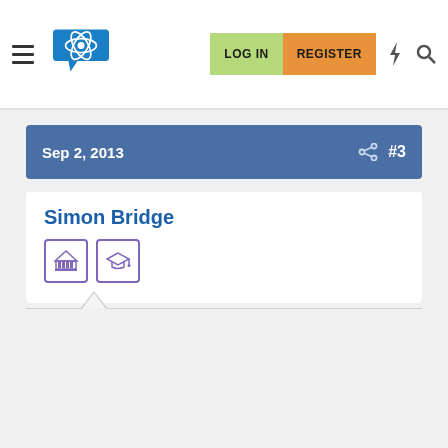LOG IN  REGISTER
Sep 2, 2013  #3
Simon Bridge